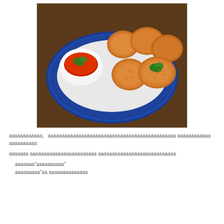[Figure (photo): Overhead view of golden fried food patties/croquettes on a blue decorative plate, with a white dipping bowl containing red chili sauce garnished with fresh cilantro leaves.]
ааааааааааа,  аааааааааааааааааааааааааааааааааааааааааааа аааааааааааа аааааааааа
ааааааа аааааааааааааааааааааааа аааааааааааааааааааааааааааа
ааааааа"аааааааааа"
ааааааааа"аа аааааааааааааа